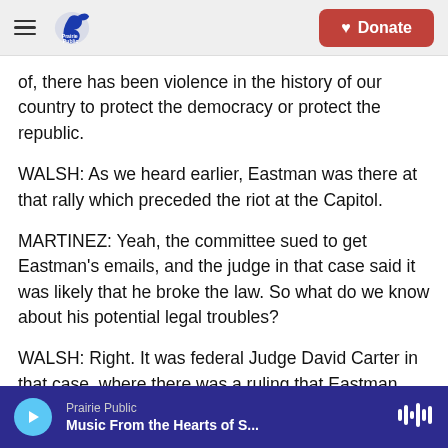Prairie Public | Donate
of, there has been violence in the history of our country to protect the democracy or protect the republic.
WALSH: As we heard earlier, Eastman was there at that rally which preceded the riot at the Capitol.
MARTINEZ: Yeah, the committee sued to get Eastman's emails, and the judge in that case said it was likely that he broke the law. So what do we know about his potential legal troubles?
WALSH: Right. It was federal Judge David Carter in that case, where there was a ruling that Eastman
Prairie Public | Music From the Hearts of S...